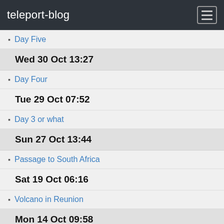teleport-blog
Wed 30 Oct 13:27
Day Five
Wed 30 Oct 13:27
Day Four
Tue 29 Oct 07:52
Day 3 or what
Sun 27 Oct 13:44
Passage to South Africa
Sat 19 Oct 06:16
Volcano in Reunion
Mon 14 Oct 09:58
Mauritius
Rodrigues Island
Sep 2013
Mon 30 Sep 14:32
Passage report